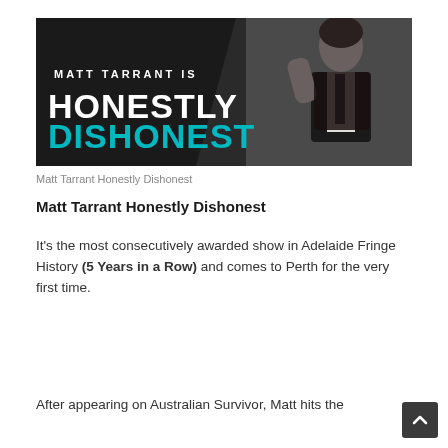[Figure (photo): Promotional banner for Matt Tarrant's 'Honestly Dishonest' show. Dark background with man in suit on the right, text on left reads 'MATT TARRANT IS HONESTLY DISHONEST' with 'DISHONEST' in teal/cyan.]
Matt Tarrant Honestly Dishonest
Matt Tarrant Honestly Dishonest
It's the most consecutively awarded show in Adelaide Fringe History (5 Years in a Row) and comes to Perth for the very first time.
After appearing on Australian Survivor, Matt hits the